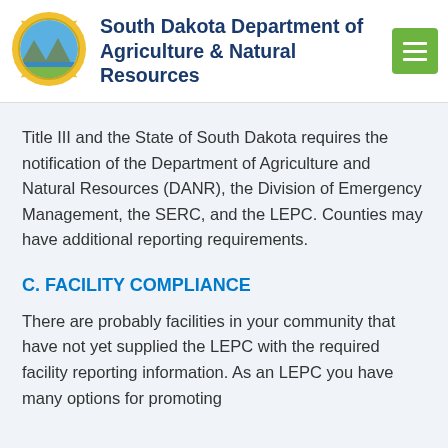[Figure (logo): South Dakota Department of Agriculture & Natural Resources circular seal with sun rays border, landscape scene inside]
South Dakota Department of Agriculture & Natural Resources
Title III and the State of South Dakota requires the notification of the Department of Agriculture and Natural Resources (DANR), the Division of Emergency Management, the SERC, and the LEPC. Counties may have additional reporting requirements.
C. FACILITY COMPLIANCE
There are probably facilities in your community that have not yet supplied the LEPC with the required facility reporting information. As an LEPC you have many options for promoting